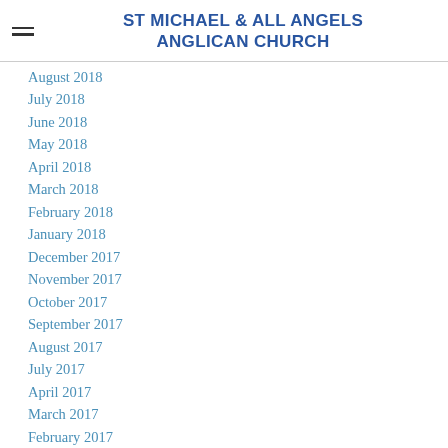ST MICHAEL & ALL ANGELS ANGLICAN CHURCH
August 2018
July 2018
June 2018
May 2018
April 2018
March 2018
February 2018
January 2018
December 2017
November 2017
October 2017
September 2017
August 2017
July 2017
April 2017
March 2017
February 2017